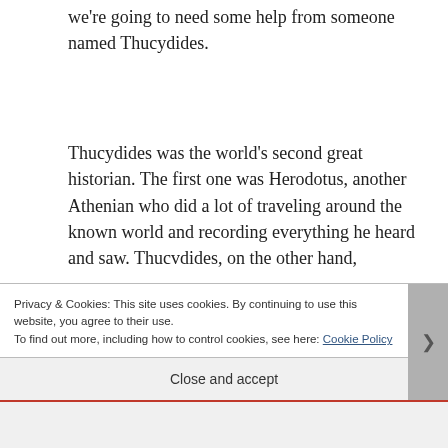we're going to need some help from someone named Thucydides.
Thucydides was the world's second great historian. The first one was Herodotus, another Athenian who did a lot of traveling around the known world and recording everything he heard and saw. Thucydides, on the other hand,
Privacy & Cookies: This site uses cookies. By continuing to use this website, you agree to their use.
To find out more, including how to control cookies, see here: Cookie Policy
Close and accept